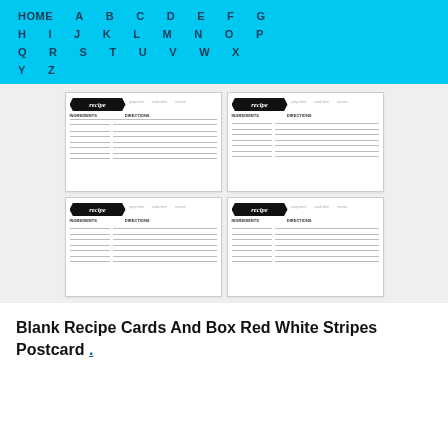HOME A B C D E F G H I J K L M N O P Q R S T U V W X Y Z
[Figure (other): Four blank recipe cards arranged in a 2x2 grid, each with a black 'recipe' badge/banner in the top-left corner and lined areas for ingredients and directions.]
Blank Recipe Cards And Box Red White Stripes Postcard .